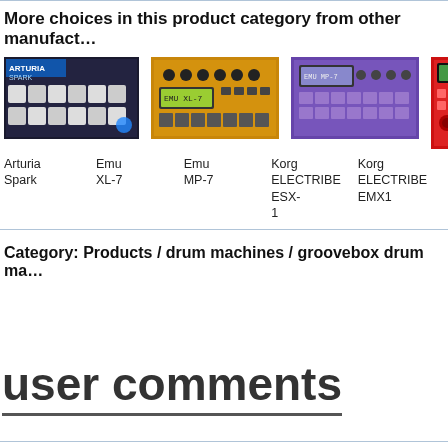More choices in this product category from other manufacturers
[Figure (photo): Arturia Spark drum machine thumbnail]
Arturia
Spark
[Figure (photo): Emu XL-7 drum machine thumbnail]
Emu
XL-7
[Figure (photo): Emu MP-7 drum machine thumbnail]
Emu
MP-7
[Figure (photo): Korg ELECTRIBE ESX-1 drum machine thumbnail]
Korg
ELECTRIBE ESX-1
[Figure (photo): Korg ELECTRIBE EMX1 drum machine thumbnail]
Korg
ELECTRIBE EMX1
Category:  Products / drum machines / groovebox drum machines
user comments